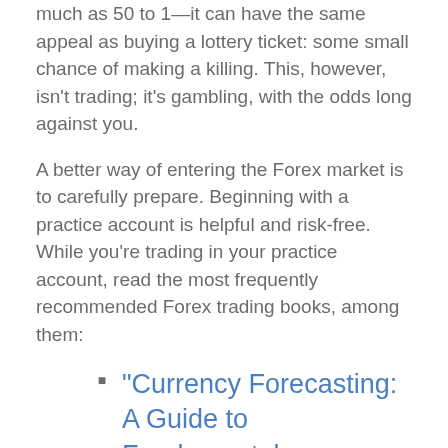much as 50 to 1—it can have the same appeal as buying a lottery ticket: some small chance of making a killing. This, however, isn't trading; it's gambling, with the odds long against you.
A better way of entering the Forex market is to carefully prepare. Beginning with a practice account is helpful and risk-free. While you're trading in your practice account, read the most frequently recommended Forex trading books, among them:
"Currency Forecasting: A Guide to Fundamental
"Forex Strategies: Best Forex